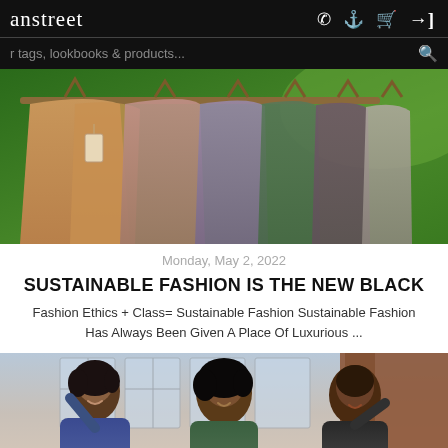anstreet  tags, lookbooks & products...
[Figure (photo): Colorful organic cotton t-shirts hanging on wooden hangers outdoors with green foliage in background]
Monday, May 2, 2022
SUSTAINABLE FASHION IS THE NEW BLACK
Fashion Ethics + Class= Sustainable Fashion Sustainable Fashion Has Always Been Given A Place Of Luxurious ...
[Figure (photo): Three young people smiling and celebrating indoors near windows]